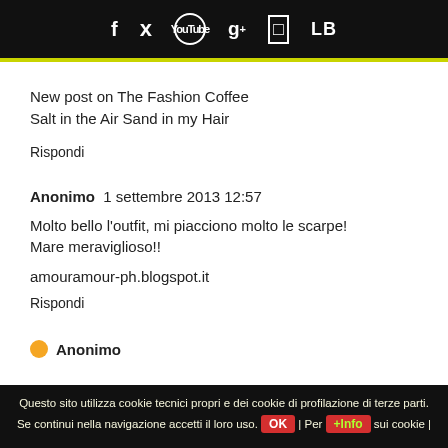f  ✓  yt  g+  □  LB
New post on The Fashion Coffee
Salt in the Air Sand in my Hair
Rispondi
Anonimo  1 settembre 2013 12:57
Molto bello l'outfit, mi piacciono molto le scarpe!
Mare meraviglioso!!
amouramour-ph.blogspot.it
Rispondi
Questo sito utilizza cookie tecnici propri e dei cookie di profilazione di terze parti. Se continui nella navigazione accetti il loro uso. OK | Per +Info sui cookie |